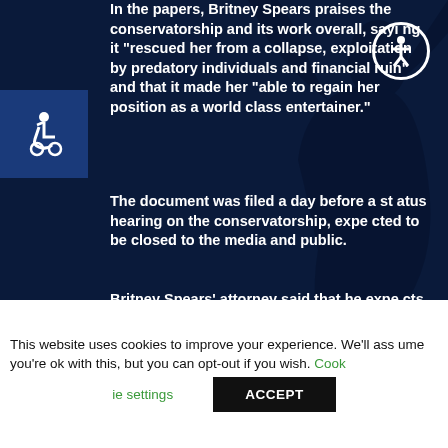In the papers, Britney Spears praises the conservatorship and its work overall, saying it "rescued her from a collapse, exploitation by predatory individuals and financial ruin" and that it made her "able to regain her position as a world class entertainer."
The document was filed a day before a status hearing on the conservatorship, expected to be closed to the media and public.
Britney Spears' attorney said that he expects James Spears will aggressively contest being marginalized, and said that Britney
This website uses cookies to improve your experience. We'll assume you're ok with this, but you can opt-out if you wish. Cookie settings ACCEPT